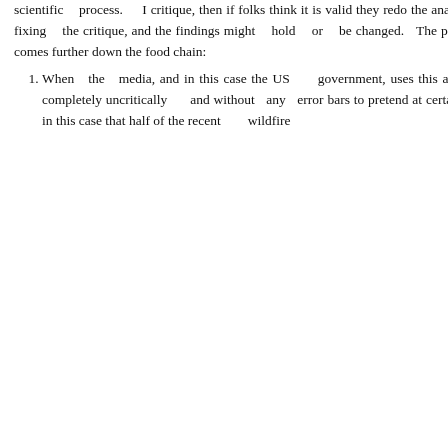scientific process. I critique, then if folks think it is valid they redo the analysis fixing the critique, and the findings might hold or be changed. The problem comes further down the food chain:
When the media, and in this case the US government, uses this analysis completely uncritically and without any error bars to pretend at certainty -- in this case that half of the recent wildfire
Wisconsin Campgrounds
Workamping Jobs
RECENT POSTS
Buying and Selling a Business
Christmas Wonder, with Penguins
Regional Variations in COVID are SEASONAL, not Correlated with Party of the Governor
An Open Letter to California Public Recreation Officials
If Fauci Were A Scientist
ARCHIVES
April 2022
December 2021
November 2021
October 2021
September 2021
August 2021
July 2021
June 2021